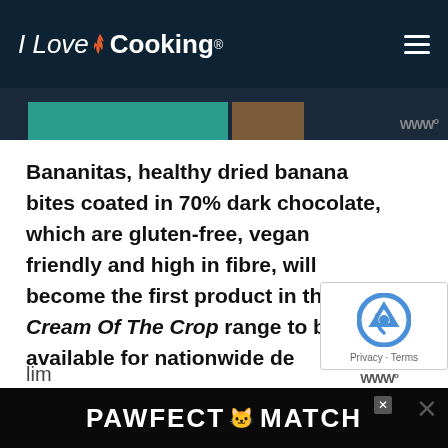I Love Cooking
Bananitas, healthy dried banana bites coated in 70% dark chocolate, which are gluten-free, vegan friendly and high in fibre, will become the first product in the Cream Of The Crop range to be available for nationwide de
In return for their financial support, fans of the brand will be able to select from a range of lim
[Figure (other): PAWFECT MATCH advertisement banner at bottom of screen]